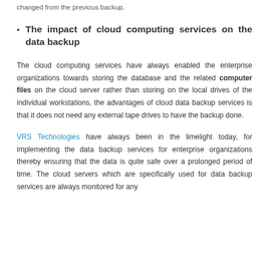changed from the previous backup.
The impact of cloud computing services on the data backup
The cloud computing services have always enabled the enterprise organizations towards storing the database and the related computer files on the cloud server rather than storing on the local drives of the individual workstations, the advantages of cloud data backup services is that it does not need any external tape drives to have the backup done.
VRS Technologies have always been in the limelight today, for implementing the data backup services for enterprise organizations thereby ensuring that the data is quite safe over a prolonged period of time. The cloud servers which are specifically used for data backup services are always monitored for any